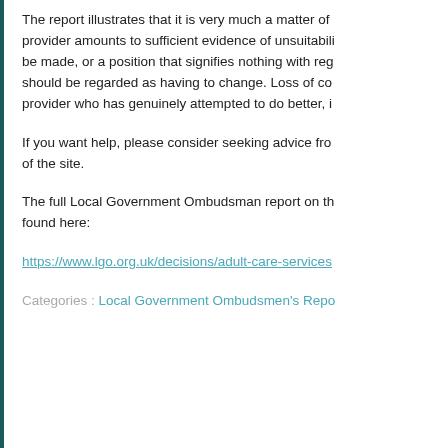The report illustrates that it is very much a matter of provider amounts to sufficient evidence of unsuitability be made, or a position that signifies nothing with reg should be regarded as having to change. Loss of co provider who has genuinely attempted to do better, i
If you want help, please consider seeking advice fro of the site.
The full Local Government Ombudsman report on th found here:
https://www.lgo.org.uk/decisions/adult-care-services
Categories : Local Government Ombudsmen's Repo